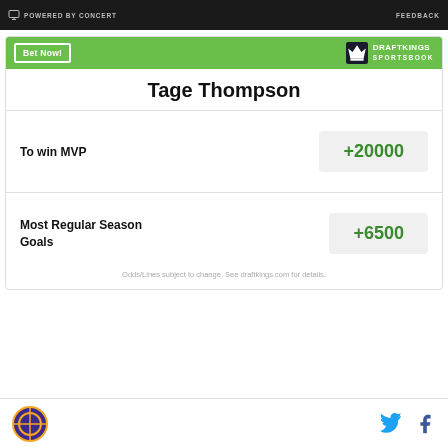POWERED BY CONCERT | FEEDBACK
Tage Thompson
| Bet | Odds |
| --- | --- |
| To win MVP | +20000 |
| Most Regular Season Goals | +6500 |
Odds/Lines subject to change. See draftkings.com for details.